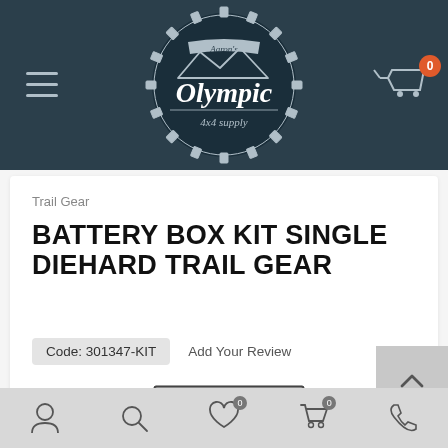[Figure (logo): Aaron's Olympic 4x4 Supply circular logo with mountain silhouette and gear border, white on dark teal header]
Trail Gear
BATTERY BOX KIT SINGLE DIEHARD TRAIL GEAR
Code: 301347-KIT   Add Your Review
[Figure (photo): Battery box kit product photo showing a metal bracket/tray with mounting hardware, black and chrome finish]
[Figure (screenshot): Mobile navigation bottom bar with account, search, wishlist, cart, and phone icons; scroll-to-top button (chevron up) at right]